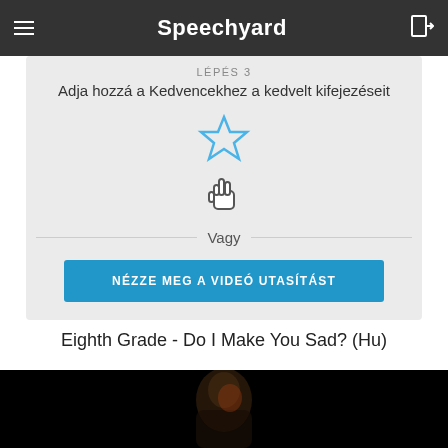Speechyard
LÉPÉS 3
Adja hozzá a Kedvencekhez a kedvelt kifejezéseit
[Figure (illustration): Star icon outline in blue with a hand/cursor pointer icon below it]
Vagy
NÉZZE MEG A VIDEÓ UTASÍTÁST
Eighth Grade - Do I Make You Sad? (Hu)
[Figure (photo): Dark video thumbnail showing a person's silhouette/face against a black background]